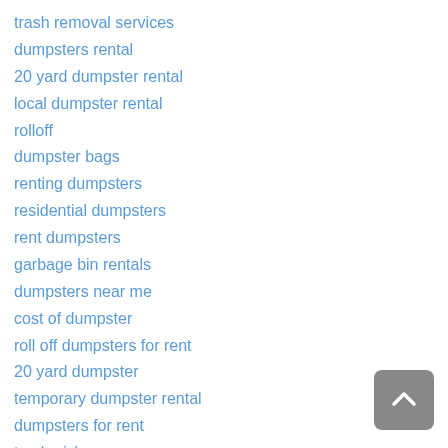trash removal services
dumpsters rental
20 yard dumpster rental
local dumpster rental
rolloff
dumpster bags
renting dumpsters
residential dumpsters
rent dumpsters
garbage bin rentals
dumpsters near me
cost of dumpster
roll off dumpsters for rent
20 yard dumpster
temporary dumpster rental
dumpsters for rent
trash pickup
portable dumpsters
rent a dump